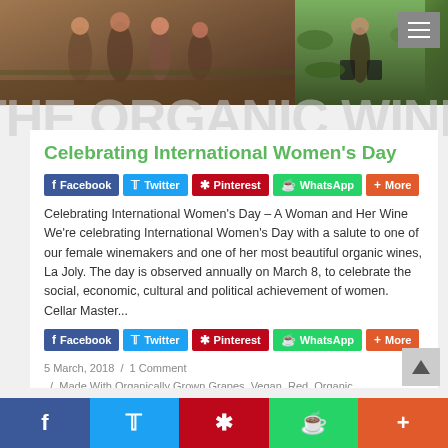[Figure (photo): Two photos side by side: left shows women walking in vineyard, right shows person carrying buckets in green vineyard]
Celebrating International Women's Day
Facebook  Twitter  Pinterest  WhatsApp  More
Celebrating International Women's Day – A Woman and Her Wine We're celebrating International Women's Day with a salute to one of our female winemakers and one of her most beautiful organic wines, La Joly. The day is observed annually on March 8, to celebrate the social, economic, cultural and political achievement of women. Cellar Master...
Facebook  Twitter  Pinterest  WhatsApp  More
5 March, 2018  /  1 Comment
/  Made With Organically Grown Grapes, Vegan, Red, Organic winery partners, Uncategorized